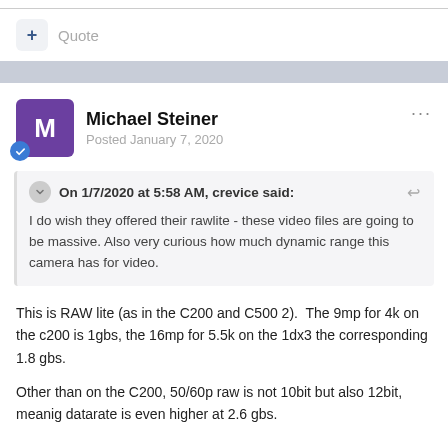+ Quote
Michael Steiner
Posted January 7, 2020
On 1/7/2020 at 5:58 AM, crevice said:
I do wish they offered their rawlite - these video files are going to be massive. Also very curious how much dynamic range this camera has for video.
This is RAW lite (as in the C200 and C500 2).  The 9mp for 4k on the c200 is 1gbs, the 16mp for 5.5k on the 1dx3 the corresponding 1.8 gbs.
Other than on the C200, 50/60p raw is not 10bit but also 12bit, meanig datarate is even higher at 2.6 gbs.